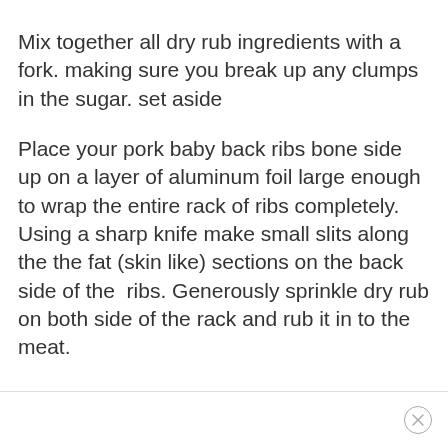Mix together all dry rub ingredients with a fork. making sure you break up any clumps in the sugar. set aside
Place your pork baby back ribs bone side up on a layer of aluminum foil large enough to wrap the entire rack of ribs completely. Using a sharp knife make small slits along the the fat (skin like) sections on the back side of the  ribs. Generously sprinkle dry rub on both side of the rack and rub it in to the meat.